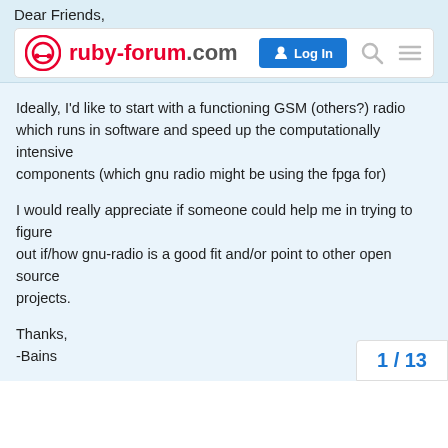Dear Friends,
[Figure (screenshot): ruby-forum.com navigation bar with logo, Log In button, search icon, and menu icon]
Ideally, I'd like to start with a functioning GSM (others?) radio which runs in software and speed up the computationally intensive
components (which gnu radio might be using the fpga for)
I would really appreciate if someone could help me in trying to figure
out if/how gnu-radio is a good fit and/or point to other open source
projects.
Thanks,
-Bains
PS. I have no background in dsp/signal-processing but have good
programming background and my day job
1 / 13